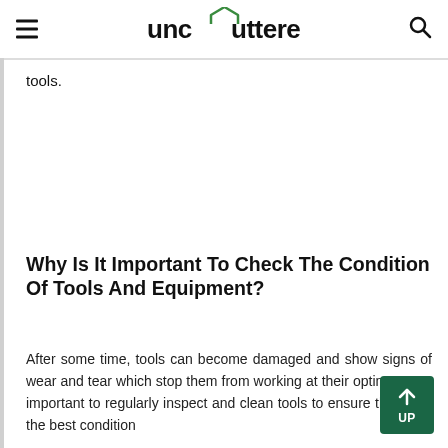unclutterer
tools.
Why Is It Important To Check The Condition Of Tools And Equipment?
After some time, tools can become damaged and show signs of wear and tear which stop them from working at their optimum. It's important to regularly inspect and clean tools to ensure they're in the best condition